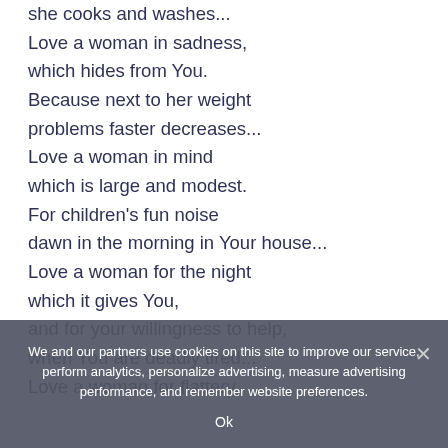she cooks and washes...
Love a woman in sadness,
which hides from You.
Because next to her weight
problems faster decreases...
Love a woman in mind
which is large and modest.
For children's fun noise
dawn in the morning in Your house...
Love a woman for the night
which it gives You,
and for your willingness to help,
when You are deadly tired...
Love a woman for flattery,
We and our partners use cookies on this site to improve our service, perform analytics, personalize advertising, measure advertising performance, and remember website preferences.
Ok